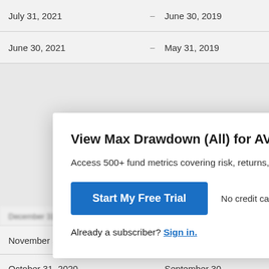| Date |  | Date |
| --- | --- | --- |
| July 31, 2021 | -- | June 30, 2019 |
| June 30, 2021 | -- | May 31, 2019 |
View Max Drawdown (All) for AVLIX
Access 500+ fund metrics covering risk, returns, expos…
Start My Free Trial
No credit card required.
Already a subscriber? Sign in.
| Date |  | Date |
| --- | --- | --- |
| December 31, 2020 | -- | November 30, 2… |
| November 30, 2020 | -- | October 31, 201… |
| October 31, 2020 | -- | September 30, 2… |
| September 30, 2020 | -- | August 31, 2018 |